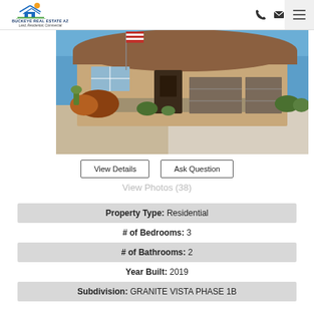[Figure (logo): Buckeye Real Estate AZ logo with house icon and text 'Land, Residential, Commercial']
[Figure (photo): Exterior photo of a single-story residential home with desert landscaping, American flag, and two-car garage]
View Details
Ask Question
View Photos (38)
Property Type: Residential
# of Bedrooms: 3
# of Bathrooms: 2
Year Built: 2019
Subdivision: GRANITE VISTA PHASE 1B